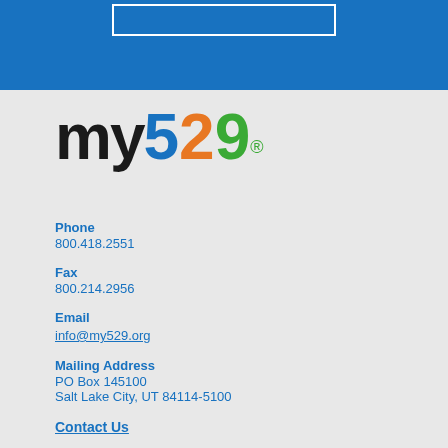[Figure (logo): my529 logo with stylized text: 'my' in black, '5' in blue, '2' in orange, '9' in green, with registered trademark symbol]
Phone
800.418.2551
Fax
800.214.2956
Email
info@my529.org
Mailing Address
PO Box 145100
Salt Lake City, UT 84114-5100
Contact Us
© my529 |